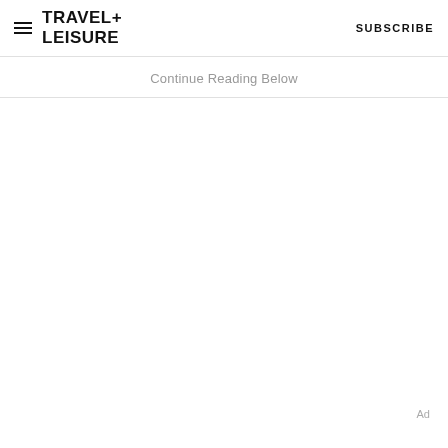TRAVEL+LEISURE   SUBSCRIBE
Continue Reading Below
Ad